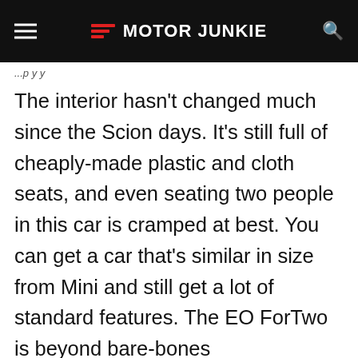Motor Junkie
The interior hasn't changed much since the Scion days. It's still full of cheaply-made plastic and cloth seats, and even seating two people in this car is cramped at best. You can get a car that's similar in size from Mini and still get a lot of standard features. The EO ForTwo is beyond bare-bones
Advertisement
[Figure (other): BitLife - Life Simulator advertisement banner with app icon images and Install button]